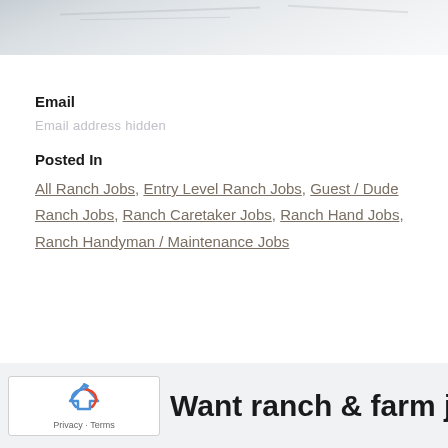[Figure (photo): Snowy winter landscape, white snow with faint tracks, partial view at top of page]
Email
Email address hidden
Posted In
All Ranch Jobs, Entry Level Ranch Jobs, Guest / Dude Ranch Jobs, Ranch Caretaker Jobs, Ranch Hand Jobs, Ranch Handyman / Maintenance Jobs
Want ranch & farm jobs